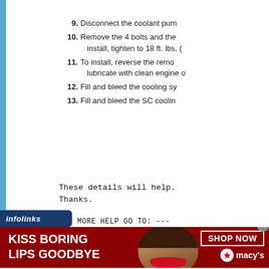[Figure (screenshot): Gray header bar at top, partially visible text 'Pg: Removing and ins...']
9. Disconnect the coolant pum
10. Remove the 4 bolts and the
 install, tighten to 18 ft. lbs. (
11. To install, reverse the remo
 lubricate with clean engine o
12. Fill and bleed the cooling sy
13. Fill and bleed the SC coolin
These details will help.
Thanks.
FOR MORE HELP GO TO: ---
Car repair guid
http://technoanswers.blogs
[Figure (infographic): Infolinks badge (dark blue label), followed by a Macy's advertisement banner with 'KISS BORING LIPS GOODBYE' text, woman's photo with red lips, SHOP NOW button and Macy's star logo]